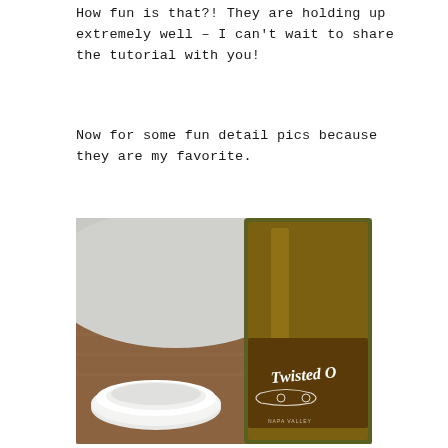How fun is that?! They are holding up extremely well – I can't wait to share the tutorial with you!
Now for some fun detail pics because they are my favorite.
[Figure (photo): Close-up photo of a 'Twisted O' olive oil bottle on a wooden tray next to a small white ceramic bowl, shot from above at an angle.]